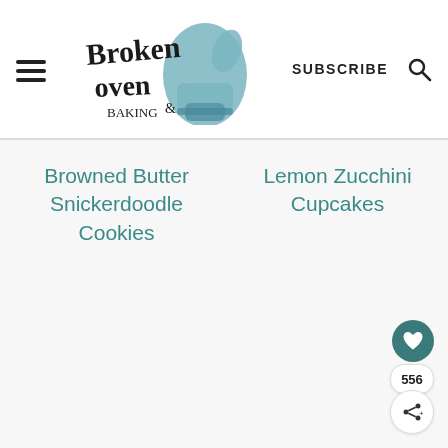Broken Oven Baking & – SUBSCRIBE (navigation header with logo and search icon)
Browned Butter Snickerdoodle Cookies
Lemon Zucchini Cupcakes